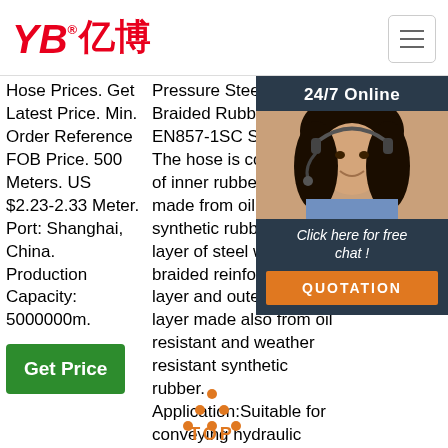[Figure (logo): YB亿博 logo in red italic text with registered trademark symbol]
Hose Prices. Get Latest Price. Min. Order Reference FOB Price. 500 Meters. US $2.23-2.33 Meter. Port: Shanghai, China. Production Capacity: 5000000m.
Pressure Steel Wire Braided Rubber Hose EN857-1SC Structure: The hose is composed of inner rubber layer made from oil resistant synthetic rubber, one layer of steel wire braided reinforcement layer and outer rubber layer made also from oil resistant and weather resistant synthetic rubber. Application:Suitable for conveying hydraulic fluid such
Hose High Pressure Man... Chi... Pric... 0.08... Ord...
[Figure (infographic): 24/7 Online customer service chat overlay with photo of woman wearing headset, 'Click here for free chat!' text, and orange QUOTATION button]
[Figure (other): TOP button with orange dots arranged in triangle pattern above the word TOP in orange]